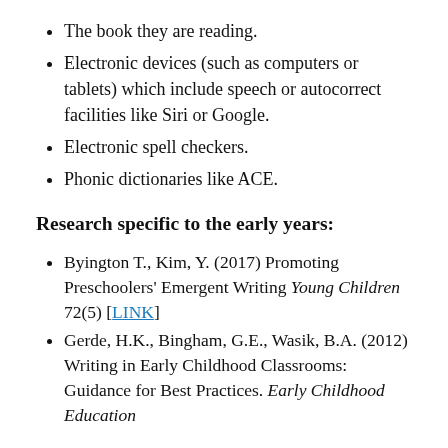The book they are reading.
Electronic devices (such as computers or tablets) which include speech or autocorrect facilities like Siri or Google.
Electronic spell checkers.
Phonic dictionaries like ACE.
Research specific to the early years:
Byington T., Kim, Y. (2017) Promoting Preschoolers' Emergent Writing Young Children 72(5) [LINK]
Gerde, H.K., Bingham, G.E., Wasik, B.A. (2012) Writing in Early Childhood Classrooms: Guidance for Best Practices. Early Childhood Education